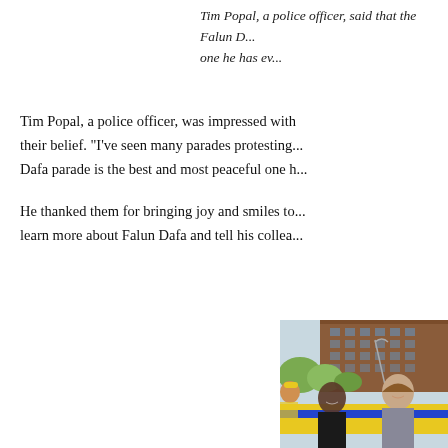Tim Popal, a police officer, said that the Falun D... one he has ev...
Tim Popal, a police officer, was impressed with their belief. "I've seen many parades protesting... Dafa parade is the best and most peaceful one h...
He thanked them for bringing joy and smiles to... learn more about Falun Dafa and tell his collea...
[Figure (photo): Two smiling women holding a yellow banner at a Falun Dafa parade in a city street, with other parade participants in yellow hats and a brick building in the background.]